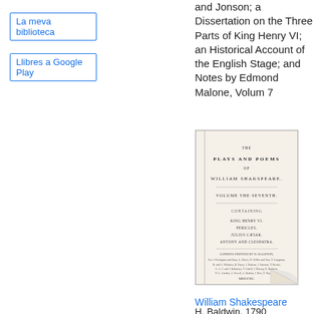La meva biblioteca
Llibres a Google Play
Plays and Poems of William Shakspeare and Jonson; a Dissertation on the Three Parts of King Henry VI; an Historical Account of the English Stage; and Notes by Edmond Malone, Volum 7
[Figure (photo): Scanned title page of 'The Plays and Poems of William Shakspeare, Volume the Seventh' published by H. Baldwin, 1790, showing contents including King Henry VI, Pericles, Julius Caesar, Antony and Cleopatra, with a page curl effect at the bottom right corner.]
William Shakespeare
H. Baldwin, 1790